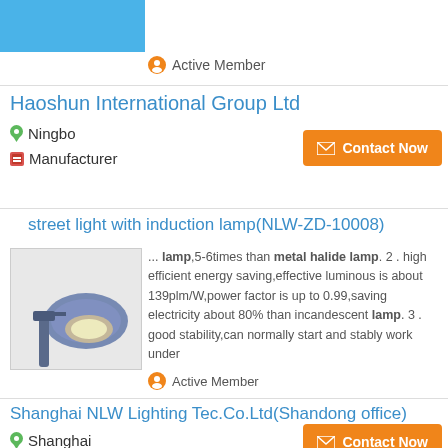[Figure (screenshot): Blue product image placeholder at top of page]
Active Member
Haoshun International Group Ltd
Ningbo
Manufacturer
Contact Now
street light with induction lamp(NLW-ZD-10008)
[Figure (photo): Photo of a street light with induction lamp, grey/blue housing]
... lamp,5-6times than metal halide lamp. 2 . high efficient energy saving,effective luminous is about 139plm/W,power factor is up to 0.99,saving electricity about 80% than incandescent lamp. 3 . good stability,can normally start and stably work under
Active Member
Shanghai NLW Lighting Tec.Co.Ltd(Shandong office)
Shanghai
Manufacturer
Contact Now